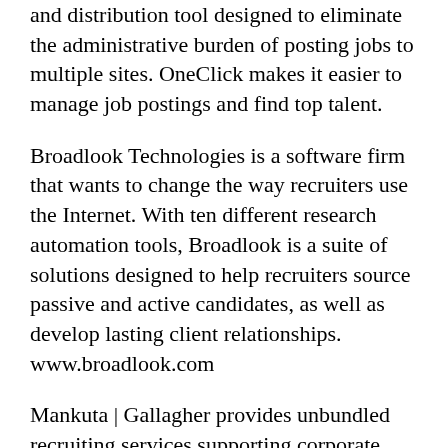and distribution tool designed to eliminate the administrative burden of posting jobs to multiple sites. OneClick makes it easier to manage job postings and find top talent.
Broadlook Technologies is a software firm that wants to change the way recruiters use the Internet. With ten different research automation tools, Broadlook is a suite of solutions designed to help recruiters source passive and active candidates, as well as develop lasting client relationships.  www.broadlook.com
Mankuta | Gallagher provides unbundled recruiting services supporting corporate recruiters nationwide. Services include Name Generation, Screening, Candidate Development, and Market Intelligence. Clients use our services to fill their talent pipeline in a project-based collaboration that is